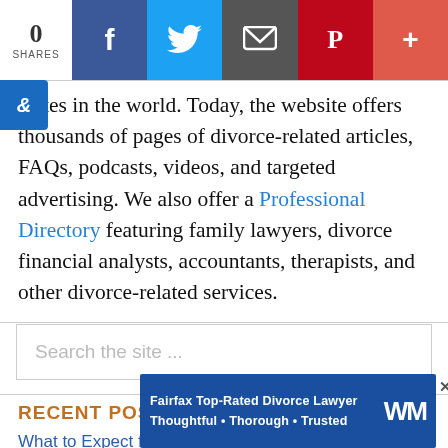[Figure (infographic): Social share bar with 0 shares count, Facebook, Twitter, Email, Pinterest, and plus buttons]
bsites in the world. Today, the website offers thousands of pages of divorce-related articles, FAQs, podcasts, videos, and targeted advertising. We also offer a Professional Directory featuring family lawyers, divorce financial analysts, accountants, therapists, and other divorce-related services.
Search the site ...
RECENT POSTS
What to Expect from a Collaborative Divorce
Rock Y...
Grey Rock Communication and the Narcissist
[Figure (infographic): Ad banner: Fairfax Top-Rated Divorce Lawyer Thoughtful · Thorough · Trusted with WM logo]